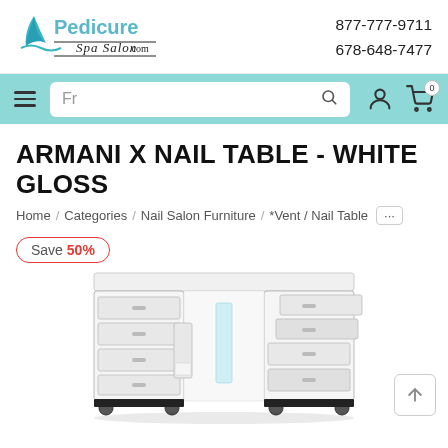[Figure (logo): Pedicure Spa Salon logo with a blue fin/wave graphic and stylized text]
877-777-9711
678-648-7477
[Figure (screenshot): Navigation bar with hamburger menu, search box showing 'Fr', search icon, user account icon, and cart icon with 0 items]
ARMANI X NAIL TABLE - WHITE GLOSS
Home / Categories / Nail Salon Furniture / *Vent / Nail Table ...
Save 50%
[Figure (photo): White gloss nail table with multiple drawers open, showing interior storage compartments]